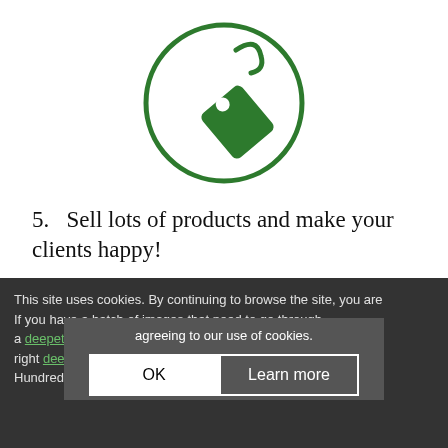[Figure (illustration): Green price tag icon inside a green circle outline]
5.   Sell lots of products and make your clients happy!
This site uses cookies. By continuing to browse the site, you are agreeing to our use of cookies.
If you have a batch of images that need to go through a deepetch pro... have to do is find the right deep etch... and wait for the results. Hundreds of companies are offering solutions to your